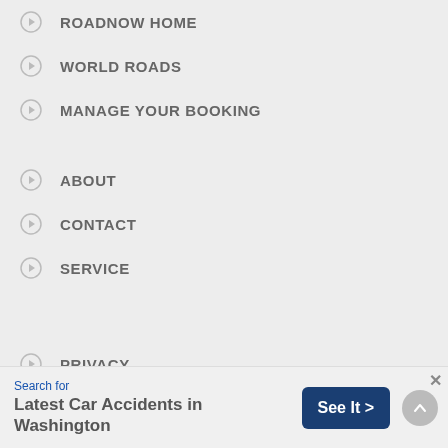ROADNOW HOME
WORLD ROADS
MANAGE YOUR BOOKING
ABOUT
CONTACT
SERVICE
PRIVACY
TERMS OF USE
ENABLE LOCATION SERVICE
Search for Latest Car Accidents in Washington See It >